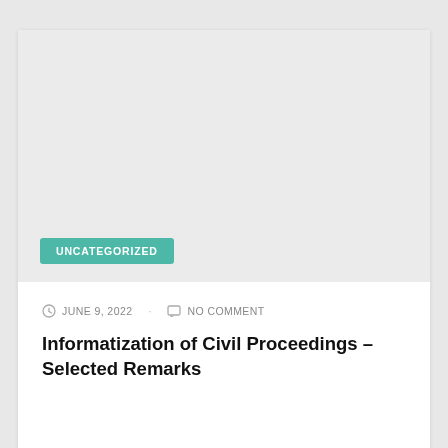[Figure (photo): Light gray rectangular image placeholder area at the top of a blog post card]
UNCATEGORIZED
JUNE 9, 2022 · NO COMMENT
Informatization of Civil Proceedings – Selected Remarks